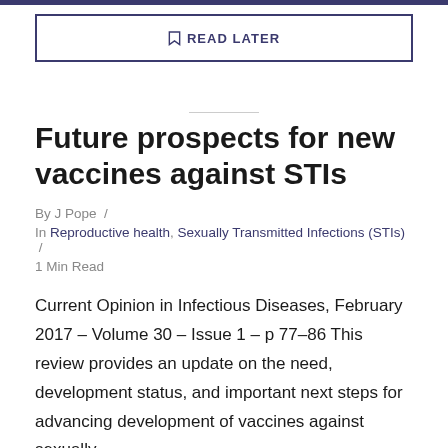READ LATER
Future prospects for new vaccines against STIs
By J Pope /
In Reproductive health, Sexually Transmitted Infections (STIs) /
1 Min Read
Current Opinion in Infectious Diseases, February 2017 – Volume 30 – Issue 1 – p 77–86 This review provides an update on the need, development status, and important next steps for advancing development of vaccines against sexually